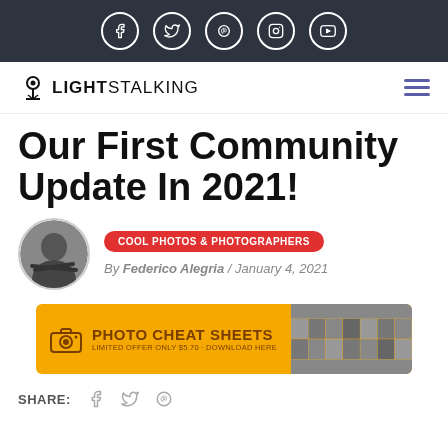[Figure (other): Top dark navigation bar with five social media icons: Facebook, Twitter, Pinterest, Instagram, YouTube — all white circle-bordered icons on dark background]
[Figure (logo): Light Stalking logo with camera-on-tripod icon and text LIGHTSTALKING, plus hamburger menu icon on right]
Our First Community Update In 2021!
[Figure (photo): Circular author avatar photo of Federico Alegria, black and white portrait of a man with arms crossed]
COOL PHOTOS & PHOTOGRAPHERS
By Federico Alegria / January 4, 2021
[Figure (infographic): Yellow/orange advertisement banner reading PHOTO CHEAT SHEETS LIMITED OFFER ONLY $5.70 - DOWNLOAD HERE with camera icon and photo thumbnails on right side]
SHARE: